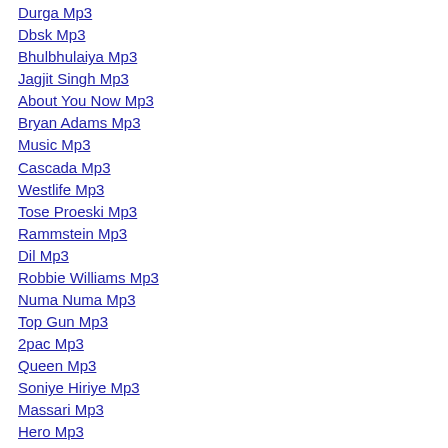Durga Mp3
Dbsk Mp3
Bhulbhulaiya Mp3
Jagjit Singh Mp3
About You Now Mp3
Bryan Adams Mp3
Music Mp3
Cascada Mp3
Westlife Mp3
Tose Proeski Mp3
Rammstein Mp3
Dil Mp3
Robbie Williams Mp3
Numa Numa Mp3
Top Gun Mp3
2pac Mp3
Queen Mp3
Soniye Hiriye Mp3
Massari Mp3
Hero Mp3
Marathi Mp3
Muse Mp3
Tatu Mp3
Justin Timberlake Mp3
My Chemical Romance Mp3